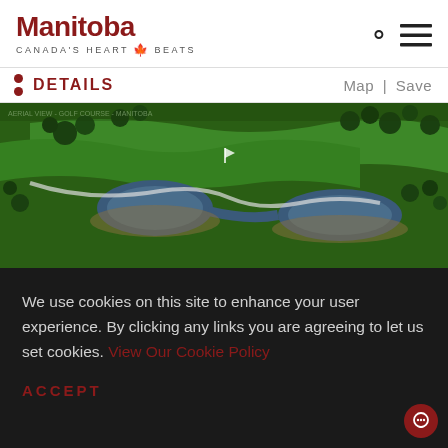Manitoba Canada's Heart Beats
DETAILS
Map | Save
[Figure (photo): Aerial view of a golf course with green fairways, water hazards/ponds, and scattered trees in Manitoba]
We use cookies on this site to enhance your user experience. By clicking any links you are agreeing to let us set cookies. View Our Cookie Policy
ACCEPT